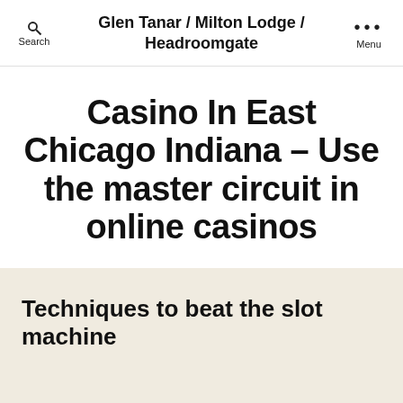Glen Tanar / Milton Lodge / Headroomgate
Casino In East Chicago Indiana – Use the master circuit in online casinos
By April 14, 2021
Techniques to beat the slot machine